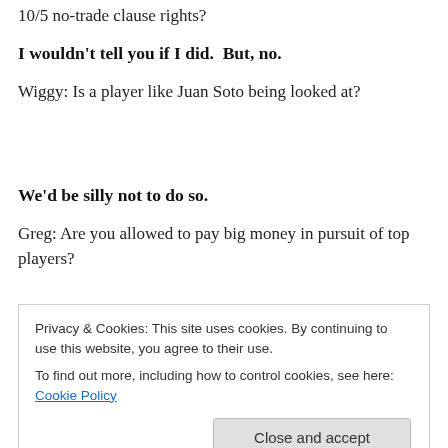10/5 no-trade clause rights?
I wouldn't tell you if I did.  But, no.
Wiggy: Is a player like Juan Soto being looked at?
We'd be silly not to do so.
Greg: Are you allowed to pay big money in pursuit of top players?
Privacy & Cookies: This site uses cookies. By continuing to use this website, you agree to their use.
To find out more, including how to control cookies, see here: Cookie Policy
Close and accept
Viewing yourself like that may cause you to miss an